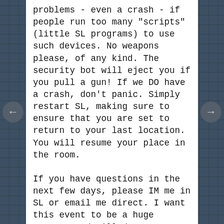problems - even a crash - if people run too many "scripts" (little SL programs) to use such devices. No weapons please, of any kind. The security bot will eject you if you pull a gun! If we DO have a crash, don't panic. Simply restart SL, making sure to ensure that you are set to return to your last location. You will resume your place in the room.

If you have questions in the next few days, please IM me in SL or email me direct. I want this event to be a huge success and will do my very best to help. I will be devoting my blog to adverts for the event for the rest of this week. Please email me for suitable graphics to use for this purpose if you would also like to promote it. Please link the graphics to this URL, so that people can teleport to the location in SL directly from your blog. I would appreciate all the help you can give.